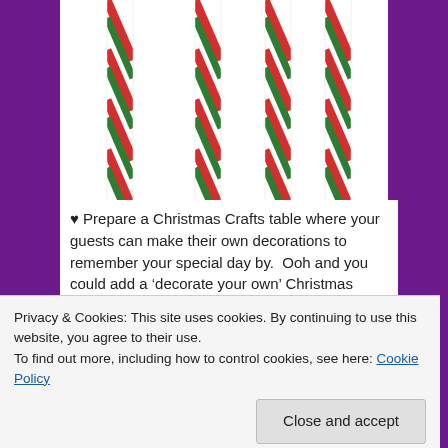[Figure (photo): Four candy-striped paper straws with red and green diagonal stripes on white, arranged vertically, shown cropped from top]
♥ Prepare a Christmas Crafts table where your guests can make their own decorations to remember your special day by.  Ooh and you could add a 'decorate your own' Christmas cookie table too, with festive icing and red & green sprinkles
Privacy & Cookies: This site uses cookies. By continuing to use this website, you agree to their use.
To find out more, including how to control cookies, see here: Cookie Policy